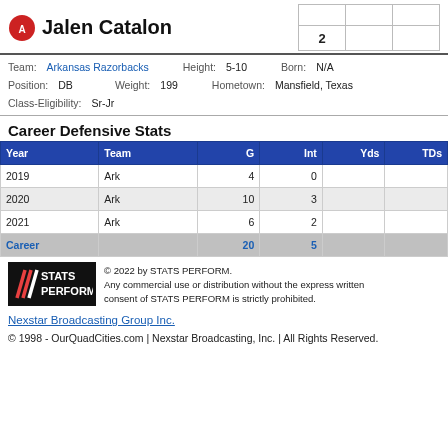Jalen Catalon
|  |  |  |
| --- | --- | --- |
|  |  |  |
|  | 2 |  |
Team: Arkansas Razorbacks   Height: 5-10   Born: N/A
Position: DB   Weight: 199   Hometown: Mansfield, Texas
Class-Eligibility: Sr-Jr
Career Defensive Stats
| Year | Team | G | Int | Yds | TDs |
| --- | --- | --- | --- | --- | --- |
| 2019 | Ark | 4 | 0 |  |  |
| 2020 | Ark | 10 | 3 |  |  |
| 2021 | Ark | 6 | 2 |  |  |
| Career |  | 20 | 5 |  |  |
[Figure (logo): STATS PERFORM logo on black background]
© 2022 by STATS PERFORM. Any commercial use or distribution without the express written consent of STATS PERFORM is strictly prohibited.
Nexstar Broadcasting Group Inc.
© 1998 - OurQuadCities.com | Nexstar Broadcasting, Inc. | All Rights Reserved.